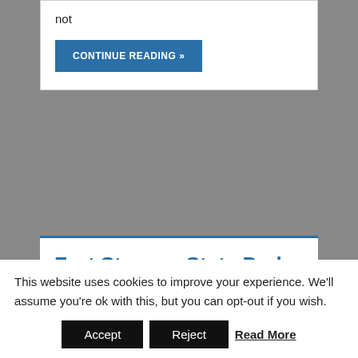not
CONTINUE READING »
Fort Stevens State Park – Astoria, Oregon
APRIL 8, 2010
[Figure (photo): Photograph of a metal tower or bridge structure against a blue sky, with watermark ©LisaKyleYoungPhotography]
This website uses cookies to improve your experience. We'll assume you're ok with this, but you can opt-out if you wish.
Accept  Reject  Read More